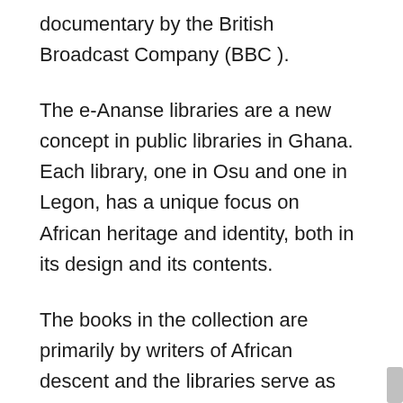documentary by the British Broadcast Company (BBC ).
The e-Ananse libraries are a new concept in public libraries in Ghana. Each library, one in Osu and one in Legon, has a unique focus on African heritage and identity, both in its design and its contents.
The books in the collection are primarily by writers of African descent and the libraries serve as cultural and heritage centres based on our African folklore storytelling tradition in which stories come alive.
The social aspect of books and reading are integral